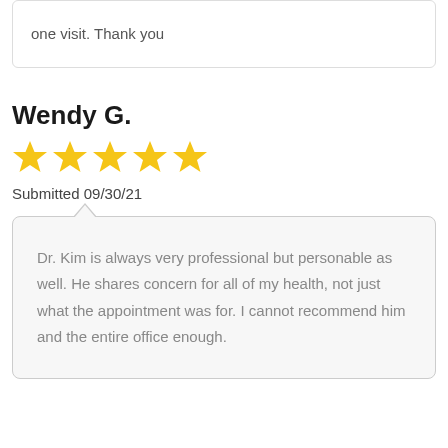one visit. Thank you
Wendy G.
[Figure (other): 5 gold stars rating]
Submitted 09/30/21
Dr. Kim is always very professional but personable as well. He shares concern for all of my health, not just what the appointment was for. I cannot recommend him and the entire office enough.